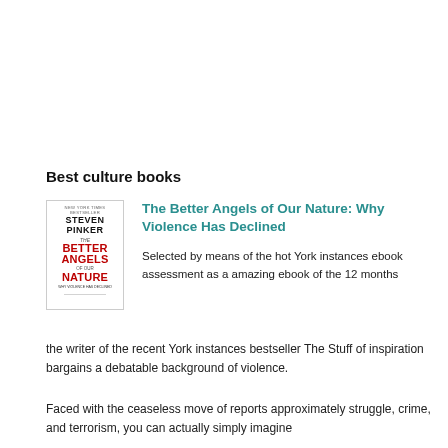Best culture books
[Figure (illustration): Book cover of 'The Better Angels of Our Nature' by Steven Pinker — red and black text on white background]
The Better Angels of Our Nature: Why Violence Has Declined
Selected by means of the hot York instances ebook assessment as a amazing ebook of the 12 months
the writer of the recent York instances bestseller The Stuff of inspiration bargains a debatable background of violence.
Faced with the ceaseless move of reports approximately struggle, crime, and terrorism, you can actually simply imagine